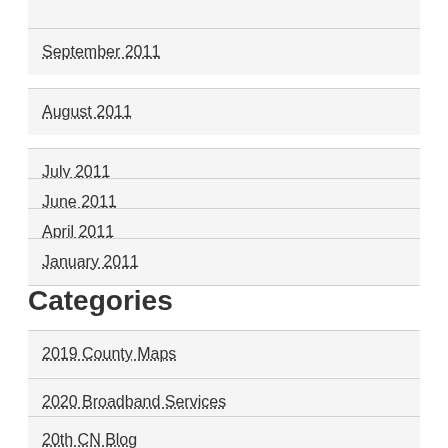September 2011
August 2011
July 2011
June 2011
April 2011
January 2011
Categories
2019 County Maps
2020 Broadband Services
20th CN Blog